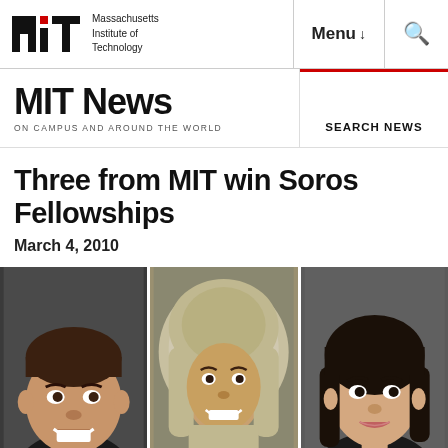Massachusetts Institute of Technology | Menu | Search
MIT News ON CAMPUS AND AROUND THE WORLD
SEARCH NEWS
Three from MIT win Soros Fellowships
March 4, 2010
[Figure (photo): Three portrait photos side by side: a young man smiling, a young woman wearing a hijab smiling, and a young woman with dark hair.]